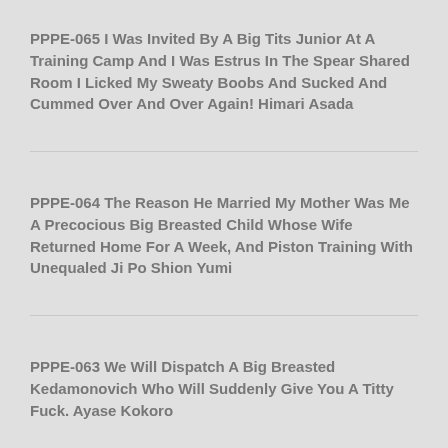PPPE-065 I Was Invited By A Big Tits Junior At A Training Camp And I Was Estrus In The Spear Shared Room I Licked My Sweaty Boobs And Sucked And Cummed Over And Over Again! Himari Asada
PPPE-064 The Reason He Married My Mother Was Me A Precocious Big Breasted Child Whose Wife Returned Home For A Week, And Piston Training With Unequaled Ji Po Shion Yumi
PPPE-063 We Will Dispatch A Big Breasted Kedamonovich Who Will Suddenly Give You A Titty Fuck. Ayase Kokoro